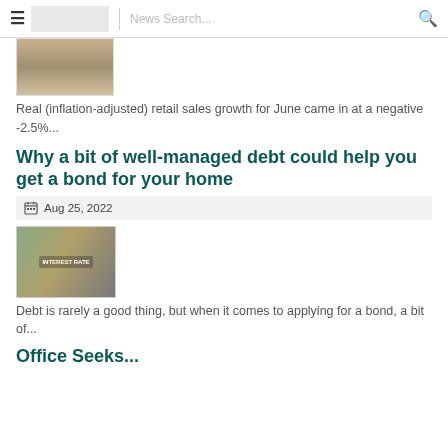News Search...
[Figure (photo): Partial photo of a person in a suit, cropped to show lower face and shoulders]
Real (inflation-adjusted) retail sales growth for June came in at a negative -2.5%...
Why a bit of well-managed debt could help you get a bond for your home
Aug 25, 2022
[Figure (photo): Laptop showing 'INTEREST RATE' text on screen, with a calculator and papers on a desk]
Debt is rarely a good thing, but when it comes to applying for a bond, a bit of...
Office Seeks...